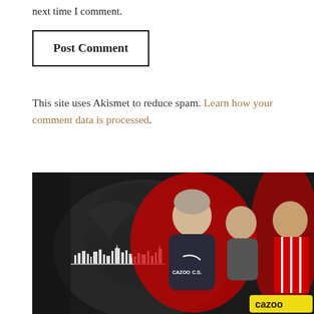next time I comment.
Post Comment
This site uses Akismet to reduce spam. Learn how your comment data is processed.
[Figure (photo): Sports promotional image with a dark background featuring a chalkboard-style eagle graphic, a white city skyline silhouette, and three people including a coach in a dark Nike shirt with 'CAZOO C.S.' text, flanked by two other individuals against red splash backgrounds. A 'cazoo' logo is visible at the bottom right.]